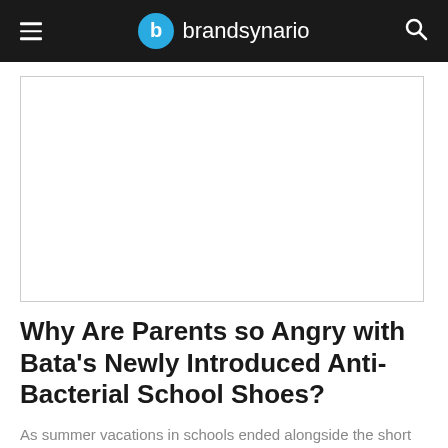brandsynario
[Figure (other): Advertisement placeholder area — blank white rectangle with thin border]
Why Are Parents so Angry with Bata's Newly Introduced Anti-Bacterial School Shoes?
As summer vacations in schools ended alongside the short monsoon season of Pakistan, many